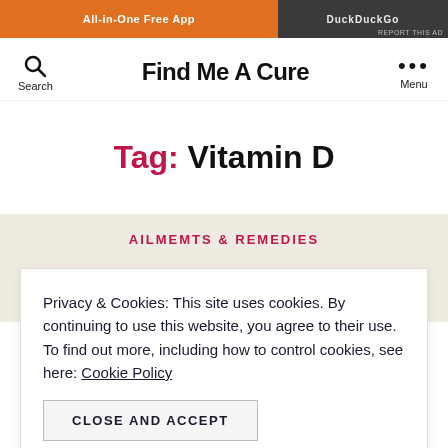[Figure (screenshot): Ad banner with orange and dark background, text 'All-in-One Free App' and 'DuckDuckGo']
Find Me A Cure
Tag: Vitamin D
AILMEMTS & REMEDIES
Privacy & Cookies: This site uses cookies. By continuing to use this website, you agree to their use.
To find out more, including how to control cookies, see here: Cookie Policy
CLOSE AND ACCEPT